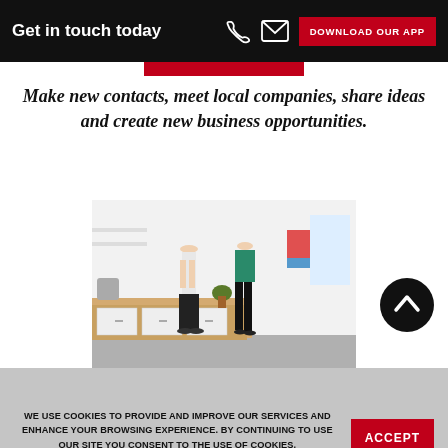Get in touch today  DOWNLOAD OUR APP
Make new contacts, meet local companies, share ideas and create new business opportunities.
[Figure (photo): Two people, a man in a white shirt and a woman in a teal top, standing and talking in a modern office kitchen area with white cabinets and shelving in the background.]
[Figure (other): Black circle with white upward chevron arrow button (scroll to top button)]
WE USE COOKIES TO PROVIDE AND IMPROVE OUR SERVICES AND ENHANCE YOUR BROWSING EXPERIENCE. BY CONTINUING TO USE OUR SITE YOU CONSENT TO THE USE OF COOKIES. LEARN MORE HERE.